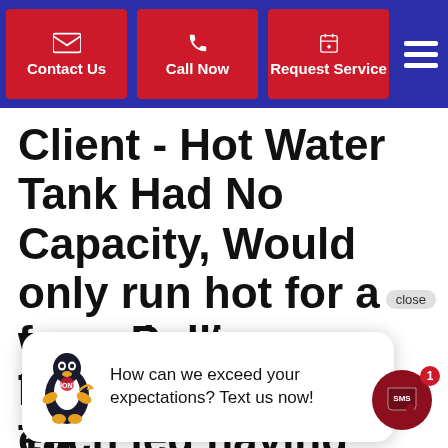Contact Us | Call Now | Request Service
Client - Hot Water Tank Had No Capacity, Would only run hot for a few minutes. Troubleshot HWT. The… were Pulling Proper Volts with each leg having Proper Amps. Removed Dip Tube and Found that
How can we exceed your expectations? Text us now!